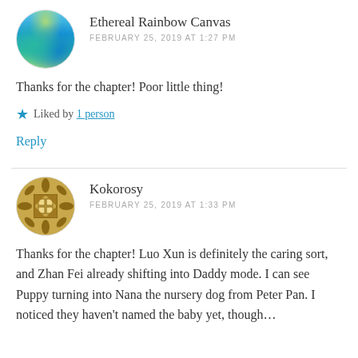[Figure (photo): Circular avatar showing a tropical beach scene with blue-green water and lush greenery]
Ethereal Rainbow Canvas
FEBRUARY 25, 2019 AT 1:27 PM
Thanks for the chapter! Poor little thing!
Liked by 1 person
Reply
[Figure (logo): Circular avatar with a golden quilt/patchwork pattern design on beige background]
Kokorosy
FEBRUARY 25, 2019 AT 1:33 PM
Thanks for the chapter! Luo Xun is definitely the caring sort, and Zhan Fei already shifting into Daddy mode. I can see Puppy turning into Nana the nursery dog from Peter Pan. I noticed they haven't named the baby yet, though…